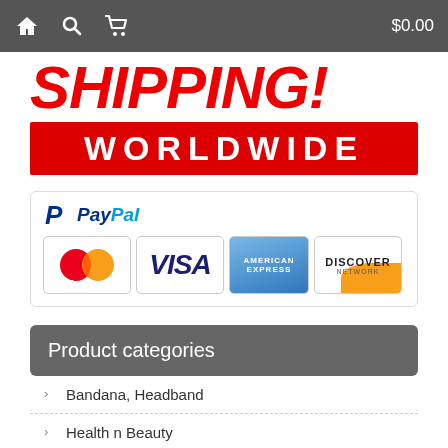$0.00
[Figure (infographic): FREE SHIPPING! WORLDWIDE banner with red text and red background bar]
[Figure (infographic): PayPal accepted payment methods banner showing MasterCard, VISA, American Express, and Discover Network logos]
Product categories
Bandana, Headband
Health n Beauty